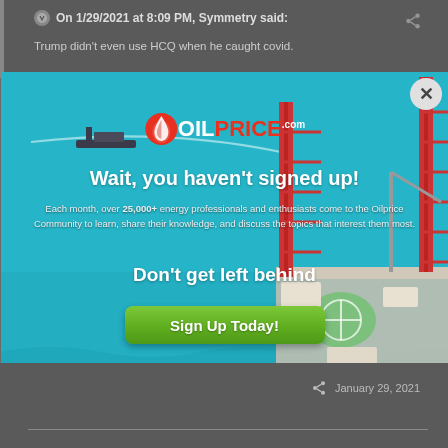On 1/29/2021 at 8:09 PM, Symmetry said:
Trump didn't even use HCQ when he caught covid.
[Figure (screenshot): OilPrice.com popup modal ad with ocean and oil rig background. Shows logo, headline 'Wait, you haven't signed up!', body text about 25,000+ energy professionals, 'Don't get left behind' subhead, and green 'Sign Up Today!' button. Has close (X) button in top right corner.]
January 29, 2021